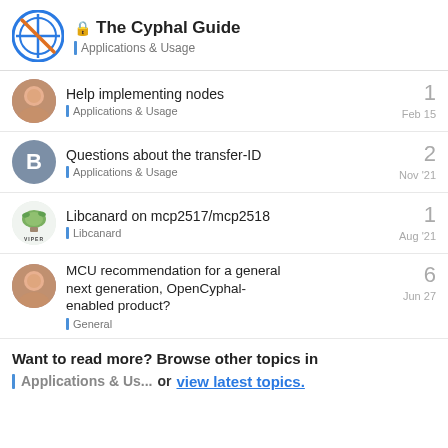The Cyphal Guide — Applications & Usage
Help implementing nodes — Applications & Usage — 1 reply — Feb 15
Questions about the transfer-ID — Applications & Usage — 2 replies — Nov '21
Libcanard on mcp2517/mcp2518 — Libcanard — 1 reply — Aug '21
MCU recommendation for a general next generation, OpenCyphal-enabled product? — General — 6 replies — Jun 27
Want to read more? Browse other topics in Applications & Us... or view latest topics.